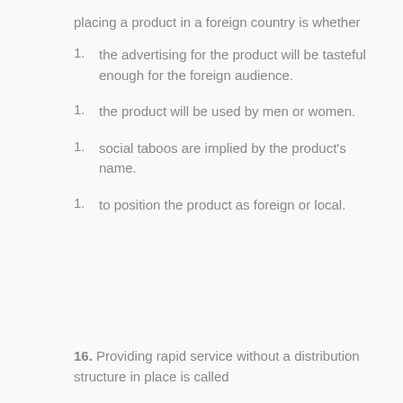placing a product in a foreign country is whether
the advertising for the product will be tasteful enough for the foreign audience.
the product will be used by men or women.
social taboos are implied by the product's name.
to position the product as foreign or local.
16. Providing rapid service without a distribution structure in place is called